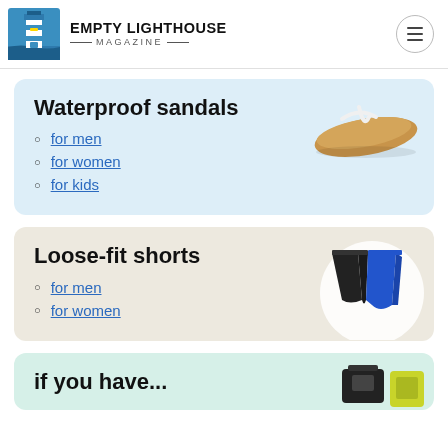EMPTY LIGHTHOUSE MAGAZINE
Waterproof sandals
for men
for women
for kids
[Figure (photo): A tan/brown flip-flop sandal with white straps, viewed from above]
Loose-fit shorts
for men
for women
[Figure (photo): Black and blue athletic shorts side by side on a white circular background]
if you have...